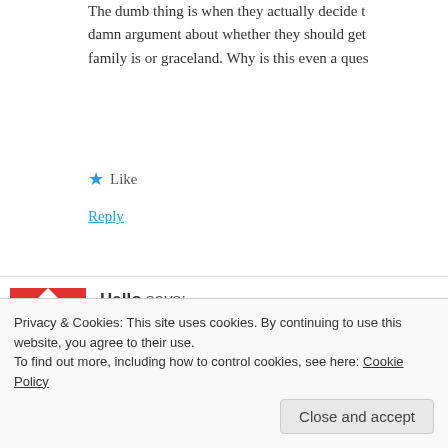The dumb thing is when they actually decide t… damn argument about whether they should get… family is or graceland. Why is this even a ques…
★ Like
Reply
[Figure (illustration): Red and white geometric/floral tile avatar icon for user Hello]
Hello says:
April 22, 2014 at 7:06 am
Don't know if this has been mentioned but Tony's pare… as the parents of that kid Brian who DJ had to babysit f… Were Tony and Brian supposed to be brothers or did th…
Privacy & Cookies: This site uses cookies. By continuing to use this website, you agree to their use.
To find out more, including how to control cookies, see here: Cookie Policy
Close and accept